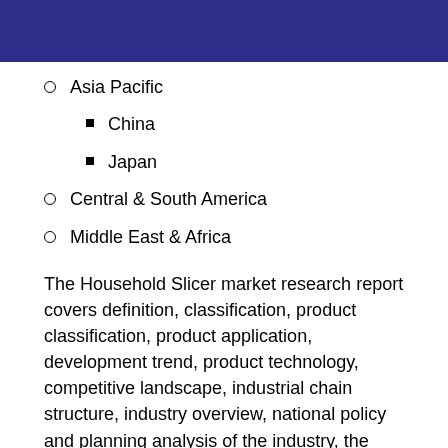Asia Pacific
China
Japan
Central & South America
Middle East & Africa
The Household Slicer market research report covers definition, classification, product classification, product application, development trend, product technology, competitive landscape, industrial chain structure, industry overview, national policy and planning analysis of the industry, the latest dynamic analysis, etc., and also includes major. The study includes drivers and restraints of the global market. It covers the impact of these drivers and restraints on the demand during the forecast period. The report also highlights opportunities in the market at